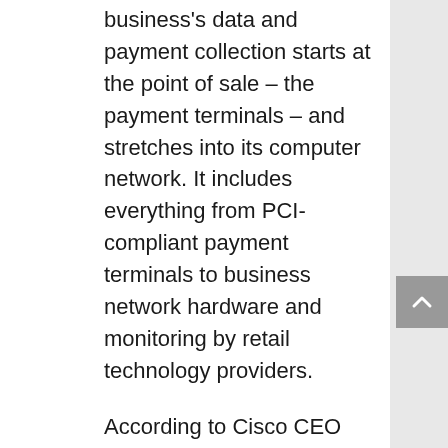business's data and payment collection starts at the point of sale – the payment terminals – and stretches into its computer network. It includes everything from PCI-compliant payment terminals to business network hardware and monitoring by retail technology providers.
According to Cisco CEO Chuck Robbins, his company blocked 7 trillion threats to its customers which factors out to 20 billion each day.
“A comprehensive digital platform is essential to improving a business’s security. The bad guys have gotten very sophisticated, especially the past couple of years. It’s important to have a